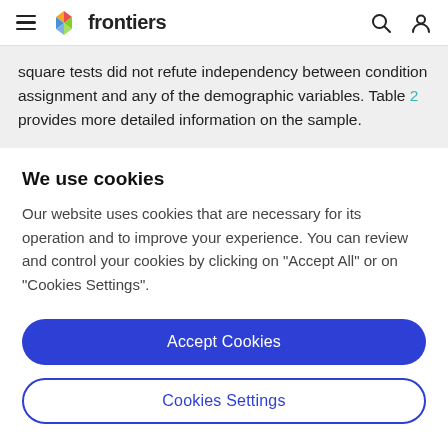frontiers
square tests did not refute independency between condition assignment and any of the demographic variables. Table 2 provides more detailed information on the sample.
We use cookies
Our website uses cookies that are necessary for its operation and to improve your experience. You can review and control your cookies by clicking on "Accept All" or on "Cookies Settings".
Accept Cookies
Cookies Settings